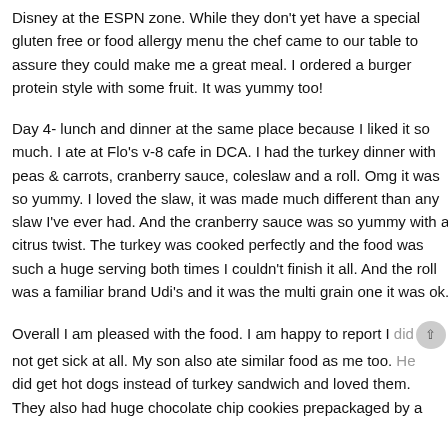Disney at the ESPN zone. While they don't yet have a special gluten free or food allergy menu the chef came to our table to assure they could make me a great meal. I ordered a burger protein style with some fruit. It was yummy too!
Day 4- lunch and dinner at the same place because I liked it so much. I ate at Flo's v-8 cafe in DCA. I had the turkey dinner with peas & carrots, cranberry sauce, coleslaw and a roll. Omg it was so yummy. I loved the slaw, it was made much different than any slaw I've ever had. And the cranberry sauce was so yummy with a citrus twist. The turkey was cooked perfectly and the food was such a huge serving both times I couldn't finish it all. And the roll was a familiar brand Udi's and it was the multi grain one it was ok.
Overall I am pleased with the food. I am happy to report I did not get sick at all. My son also ate similar food as me too. He did get hot dogs instead of turkey sandwich and loved them. They also had huge chocolate chip cookies prepackaged by a